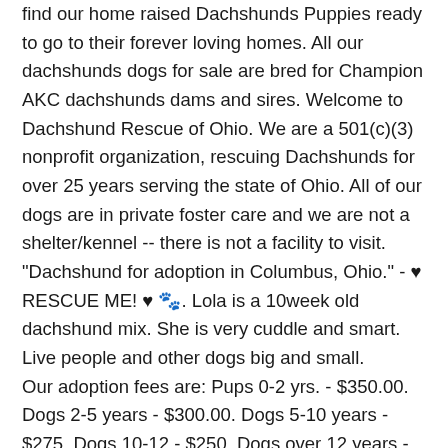find our home raised Dachshunds Puppies ready to go to their forever loving homes. All our dachshunds dogs for sale are bred for Champion AKC dachshunds dams and sires. Welcome to Dachshund Rescue of Ohio. We are a 501(c)(3) nonprofit organization, rescuing Dachshunds for over 25 years serving the state of Ohio. All of our dogs are in private foster care and we are not a shelter/kennel -- there is not a facility to visit. "Dachshund for adoption in Columbus, Ohio." - ♥ RESCUE ME! ♥ 🐾. Lola is a 10week old dachshund mix. She is very cuddle and smart. Live people and other dogs big and small.
Our adoption fees are: Pups 0-2 yrs. - $350.00. Dogs 2-5 years - $300.00. Dogs 5-10 years - $275. Dogs 10-12 - $250. Dogs over 12 years - $150. Included in the adoption fee for the dogs is a six-month supply of heartworm